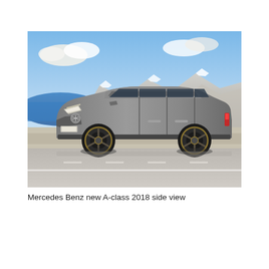[Figure (photo): Side view photograph of a silver/grey Mercedes Benz new A-class 2018 hatchback driving on a road, with a coastal mountainous landscape in the background under a blue sky with clouds.]
Mercedes Benz new A-class 2018 side view